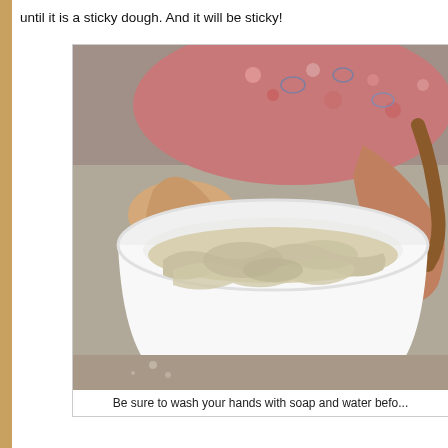until it is a sticky dough. And it will be sticky!
[Figure (photo): A person in a floral apron mixing sticky dough in a large white bowl, using their hands.]
Be sure to wash your hands with soap and water befo...